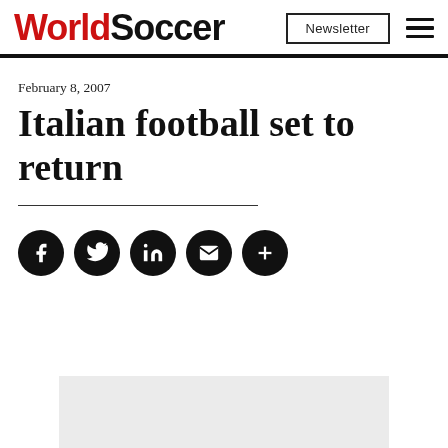WorldSoccer | Newsletter
February 8, 2007
Italian football set to return
[Figure (other): Social media share buttons: Facebook, Twitter, LinkedIn, Email, More (+)]